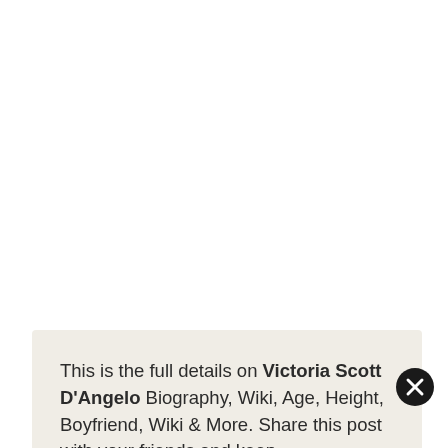This is the full details on Victoria Scott D'Angelo Biography, Wiki, Age, Height, Boyfriend, Wiki & More. Share this post with your friends and keep